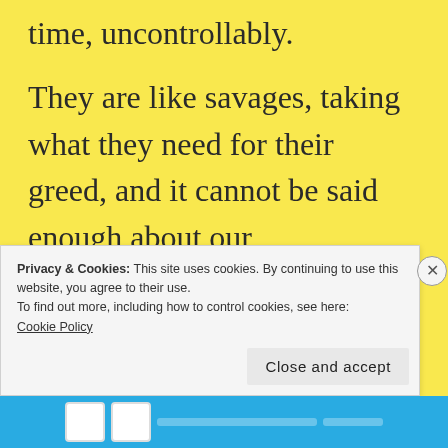time, uncontrollably.
They are like savages, taking what they need for their greed, and it cannot be said enough about our disappointment with you, the creation of the Master. You should be aware that your time upon this Earth
Privacy & Cookies: This site uses cookies. By continuing to use this website, you agree to their use.
To find out more, including how to control cookies, see here:
Cookie Policy
Close and accept